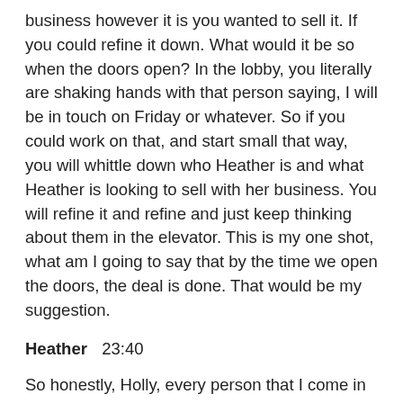business however it is you wanted to sell it. If you could refine it down. What would it be so when the doors open? In the lobby, you literally are shaking hands with that person saying, I will be in touch on Friday or whatever. So if you could work on that, and start small that way, you will whittle down who Heather is and what Heather is looking to sell with her business. You will refine it and refine and just keep thinking about them in the elevator. This is my one shot, what am I going to say that by the time we open the doors, the deal is done. That would be my suggestion.
Heather  23:40
So honestly, Holly, every person that I come in